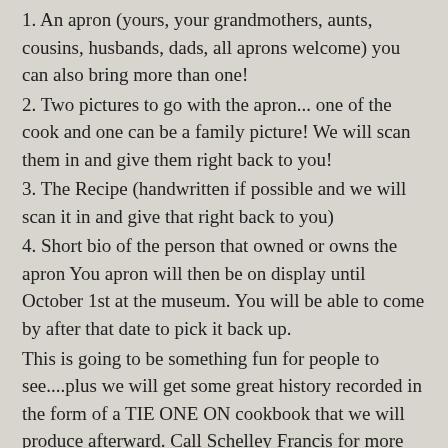1. An apron (yours, your grandmothers, aunts, cousins, husbands, dads, all aprons welcome) you can also bring more than one!
2. Two pictures to go with the apron... one of the cook and one can be a family picture! We will scan them in and give them right back to you!
3. The Recipe (handwritten if possible and we will scan it in and give that right back to you)
4. Short bio of the person that owned or owns the apron You apron will then be on display until October 1st at the museum. You will be able to come by after that date to pick it back up.
This is going to be something fun for people to see....plus we will get some great history recorded in the form of a TIE ONE ON cookbook that we will produce afterward. Call Schelley Francis for more details 318-377-3002 or drop by the museum at 116 Pearl Street. Dorcheat